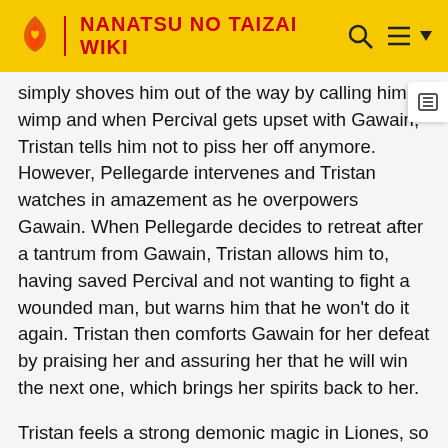NANATSU NO TAIZAI WIKI
simply shoves him out of the way by calling him a wimp and when Percival gets upset with Gawain, Tristan tells him not to piss her off anymore.  However, Pellegarde intervenes and Tristan watches in amazement as he overpowers Gawain. When Pellegarde decides to retreat after a tantrum from Gawain, Tristan allows him to, having saved Percival and not wanting to fight a wounded man, but warns him that he won't do it again.  Tristan then comforts Gawain for her defeat by praising her and assuring her that he will win the next one, which brings her spirits back to her.
Tristan feels a strong demonic magic in Liones, so Gawain teleports him and Percival back to the kingdom.